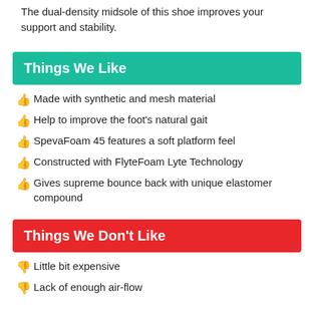The dual-density midsole of this shoe improves your support and stability.
Things We Like
Made with synthetic and mesh material
Help to improve the foot's natural gait
SpevaFoam 45 features a soft platform feel
Constructed with FlyteFoam Lyte Technology
Gives supreme bounce back with unique elastomer compound
Things We Don't Like
Little bit expensive
Lack of enough air-flow